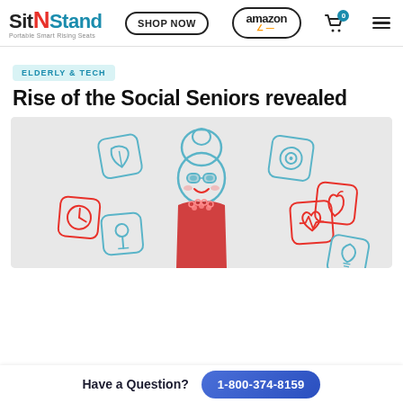SitNStand – Portable Smart Rising Seats | SHOP NOW | amazon | cart 0 | menu
ELDERLY & TECH
Rise of the Social Seniors revealed
[Figure (illustration): Cartoon illustration of an elderly woman with glasses and a bun hairstyle wearing a red top with pearl necklace, surrounded by floating app icons including a leaf, clock, map pin, camera/target, apple, heart rate monitor, and lightbulb on a light gray background.]
Have a Question? 1-800-374-8159